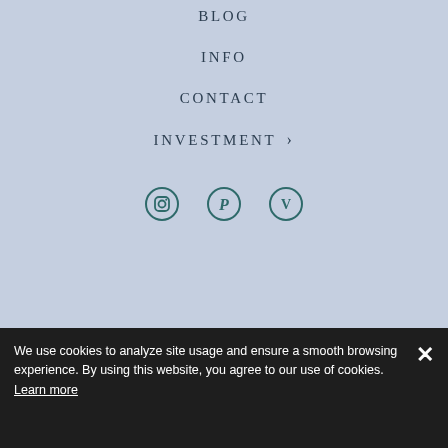BLOG
INFO
CONTACT
INVESTMENT ›
[Figure (other): Social media icons: Instagram, Pinterest, Vimeo]
© 2024 Parallel Summit Photography
We use cookies to analyze site usage and ensure a smooth browsing experience. By using this website, you agree to our use of cookies. Learn more